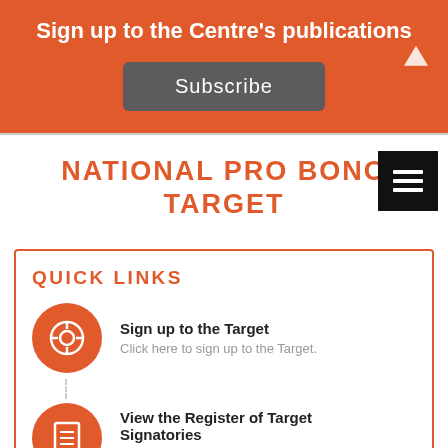Sign up to the Centre's publications
Subscribe
NATIONAL PRO BONO TARGET
QUICK LINKS
Sign up to the Target
Click here to sign up to the Target.
View the Register of Target Signatories